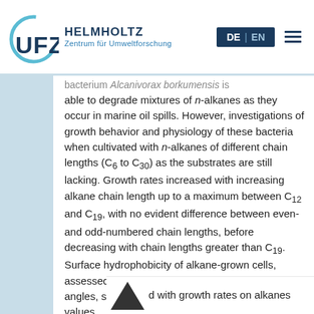[Figure (logo): UFZ Helmholtz Zentrum für Umweltforschung logo with circular UFZ mark in teal/blue]
DE | EN [hamburger menu]
bacterium Alcanivorax borkumensis is able to degrade mixtures of n-alkanes as they occur in marine oil spills. However, investigations of growth behavior and physiology of these bacteria when cultivated with n-alkanes of different chain lengths (C6 to C30) as the substrates are still lacking. Growth rates increased with increasing alkane chain length up to a maximum between C12 and C19, with no evident difference between even- and odd-numbered chain lengths, before decreasing with chain lengths greater than C19. Surface hydrophobicity of alkane-grown cells, assessed by determination of the water contact angles, showed a similar pattern, with maximum values
d with growth rates on alkanes